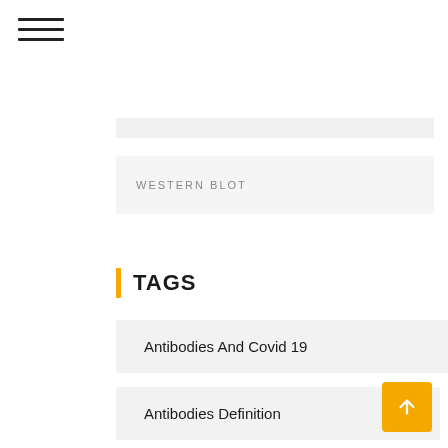[Figure (other): Hamburger menu icon (three horizontal lines)]
WESTERN BLOT
TAGS
Antibodies And Covid 19
Antibodies Definition
Antibodies Song
Antibodies Testing Coronavirus